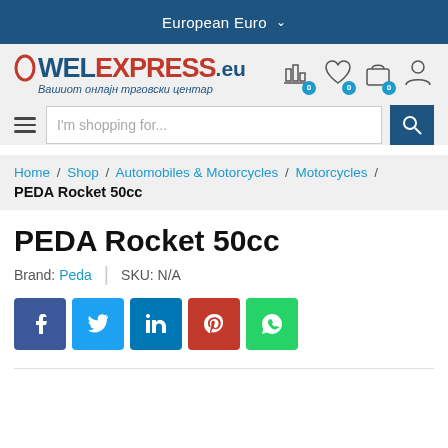European Euro
[Figure (logo): WelExpress.eu logo with tagline in Macedonian: Вашиот онлајн трговски центар]
Home / Shop / Automobiles & Motorcycles / Motorcycles / PEDA Rocket 50cc
PEDA Rocket 50cc
Brand: Peda | SKU: N/A
[Figure (infographic): Social sharing buttons: Facebook, Twitter, LinkedIn, Pinterest, WhatsApp]